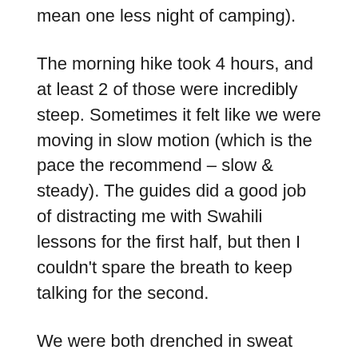mean one less night of camping).
The morning hike took 4 hours, and at least 2 of those were incredibly steep. Sometimes it felt like we were moving in slow motion (which is the pace the recommend – slow & steady). The guides did a good job of distracting me with Swahili lessons for the first half, but then I couldn't spare the breath to keep talking for the second.
We were both drenched in sweat and covered in dust by time we arrived at our lunch stop, which was essentially a big, rocky, windy dustbowl. (This was the camp we decided to skip, thankfully.) Every other bite of food came with a mouthful of dust (as if I wasn't dirty enough). They also had a plethora of the